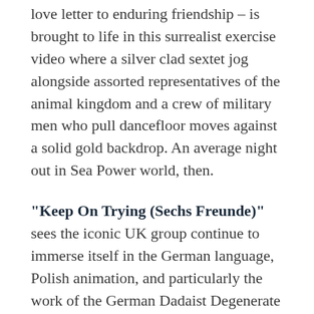love letter to enduring friendship – is brought to life in this surrealist exercise video where a silver clad sextet jog alongside assorted representatives of the animal kingdom and a crew of military men who pull dancefloor moves against a solid gold backdrop. An average night out in Sea Power world, then.
"Keep On Trying (Sechs Freunde)" sees the iconic UK group continue to immerse itself in the German language, Polish animation, and particularly the work of the German Dadaist Degenerate Artist Kurt Schwitters – all cosmopolitan imperatives that underlie the internationalism and pan-European unity that has energised British Sea Power throughout its 15-year history.
The trend to Francophile obsessions with collection...